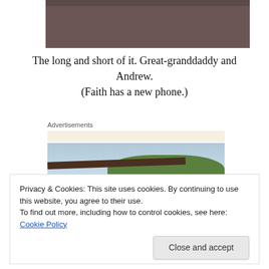[Figure (photo): Partial view of a person wearing a dark brownish-purple shirt, top portion of photo cropped]
The long and short of it. Great-granddaddy and Andrew. (Faith has a new phone.)
Advertisements
[Figure (photo): Outdoor photo showing a rooftop, green trees, and people (heads visible) in the foreground]
Privacy & Cookies: This site uses cookies. By continuing to use this website, you agree to their use.
To find out more, including how to control cookies, see here: Cookie Policy
Close and accept